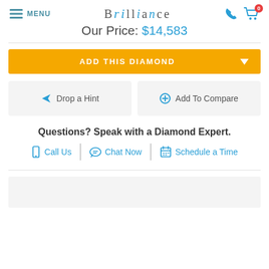MENU | BRILLIANCE | Our Price: $14,583
ADD THIS DIAMOND
Drop a Hint
Add To Compare
Questions? Speak with a Diamond Expert.
Call Us | Chat Now | Schedule a Time